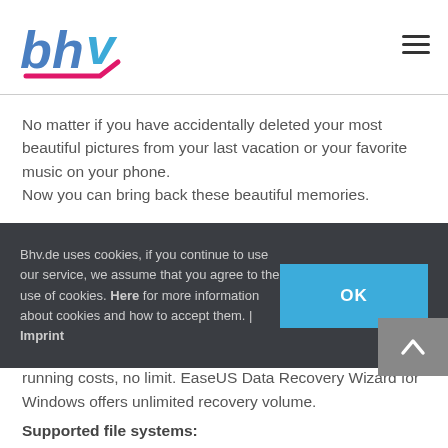[Figure (logo): BHV logo with stylized blue and pink letters b, h, v and a pink checkmark underline]
No matter if you have accidentally deleted your most beautiful pictures from your last vacation or your favorite music on your phone.
Now you can bring back these beautiful memories.
You can use this program to permanently delete data from PC / laptop, hard drives, USB flash drives and hard
Bhv.de uses cookies, if you continue to use our service, we assume that you agree to the use of cookies. Here for more information about cookies and how to accept them. | Imprint
running costs, no limit. EaseUS Data Recovery Wizard for Windows offers unlimited recovery volume.
Supported file systems: